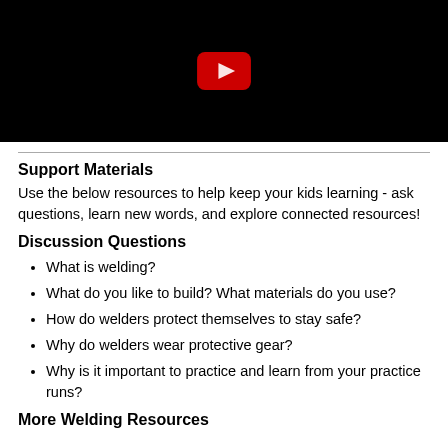[Figure (screenshot): Black video player thumbnail with YouTube play button icon (red rounded rectangle with white triangle) centered at the top]
Support Materials
Use the below resources to help keep your kids learning - ask questions, learn new words, and explore connected resources!
Discussion Questions
What is welding?
What do you like to build? What materials do you use?
How do welders protect themselves to stay safe?
Why do welders wear protective gear?
Why is it important to practice and learn from your practice runs?
More Welding Resources